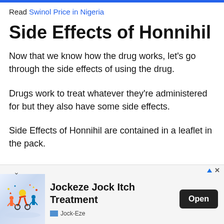Read Swinol Price in Nigeria
Side Effects of Honnihil
Now that we know how the drug works, let's go through the side effects of using the drug.
Drugs work to treat whatever they're administered for but they also have some side effects.
Side Effects of Honnihil are contained in a leaflet in the pack.
Below are some of Honnihil's main ingredient side effects which most likely are side effects of the drug
[Figure (other): Advertisement banner for Jockeze Jock Itch Treatment with sports imagery, Open button, and Jock-Eze branding]